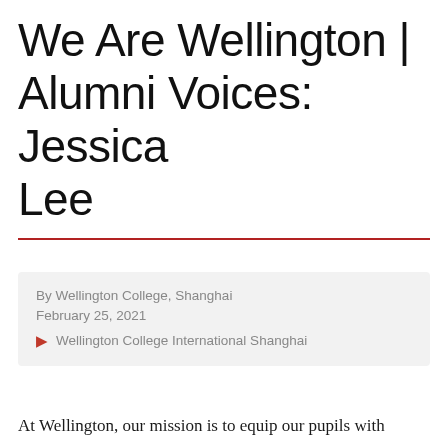We Are Wellington | Alumni Voices: Jessica Lee
By Wellington College, Shanghai
February 25, 2021
Wellington College International Shanghai
At Wellington, our mission is to equip our pupils with